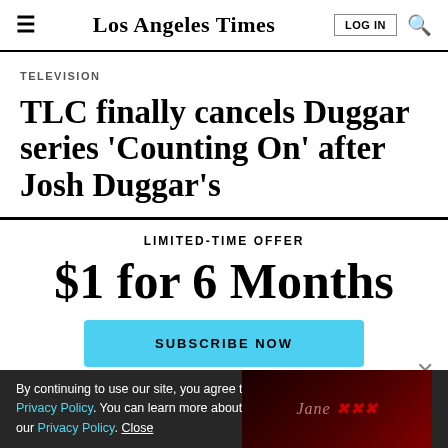Los Angeles Times
TELEVISION
TLC finally cancels Duggar series 'Counting On' after Josh Duggar's
LIMITED-TIME OFFER
$1 for 6 Months
SUBSCRIBE NOW
By continuing to use our site, you agree to our Terms of Service and Privacy Policy. You can learn more about how we use cookies by reviewing our Privacy Policy. Close